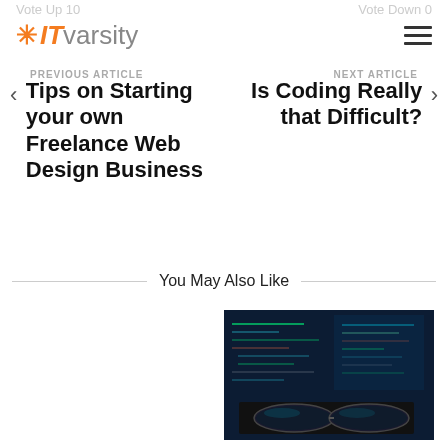Vote Up 10   Vote Down 0
[Figure (logo): IT varsity logo with orange asterisk and IT in orange italic, varsity in gray]
PREVIOUS ARTICLE
NEXT ARTICLE
< Tips on Starting your own Freelance Web Design Business
Is Coding Really that Difficult? >
You May Also Like
[Figure (photo): Dark computer screen showing code/programming interface with glasses in foreground]